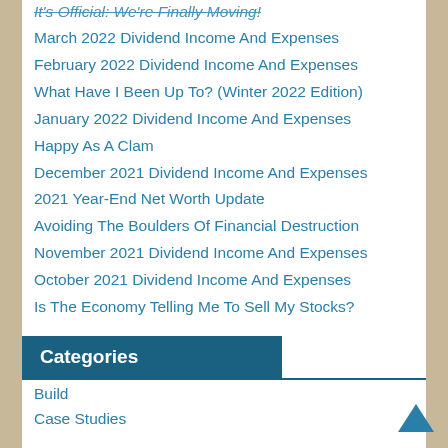It's Official: We're Finally Moving!
March 2022 Dividend Income And Expenses
February 2022 Dividend Income And Expenses
What Have I Been Up To? (Winter 2022 Edition)
January 2022 Dividend Income And Expenses
Happy As A Clam
December 2021 Dividend Income And Expenses
2021 Year-End Net Worth Update
Avoiding The Boulders Of Financial Destruction
November 2021 Dividend Income And Expenses
October 2021 Dividend Income And Expenses
Is The Economy Telling Me To Sell My Stocks?
Categories
Build
Case Studies